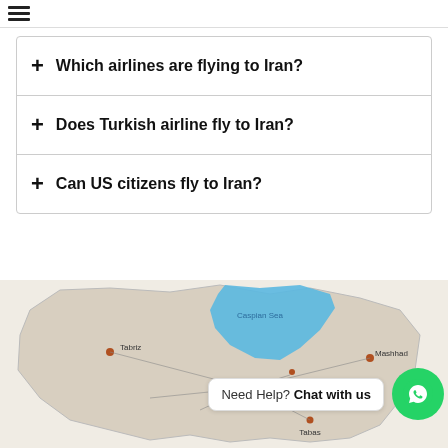+ Which airlines are flying to Iran?
+ Does Turkish airline fly to Iran?
+ Can US citizens fly to Iran?
[Figure (map): Map of Iran showing cities including Tehran, Tabriz, Mashhad, Tabas with flight route lines from Tehran. A blue highlighted region in the north (Caspian Sea area). Cities marked with dots.]
Need Help? Chat with us